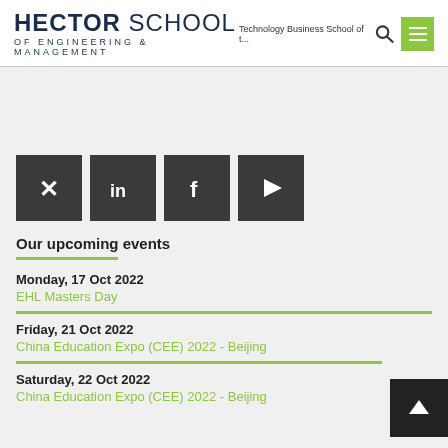HECTOR SCHOOL OF ENGINEERING & MANAGEMENT — Technology Business School of t...
[Figure (logo): Hector School of Engineering & Management logo with search icon, tagline, and green hamburger menu button]
[Figure (infographic): Four dark square social media icons: XING, LinkedIn, Facebook, YouTube]
Our upcoming events
Monday, 17 Oct 2022
EHL Masters Day
Friday, 21 Oct 2022
China Education Expo (CEE) 2022 - Beijing
Saturday, 22 Oct 2022
China Education Expo (CEE) 2022 - Beijing